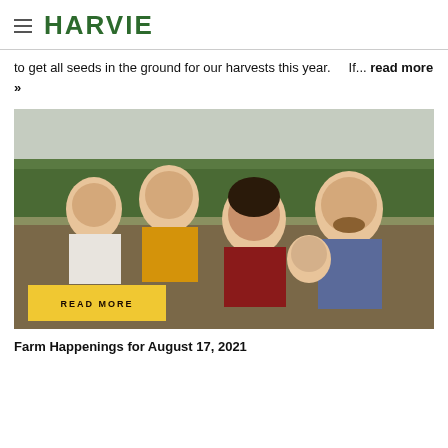HARVIE
to get all seeds in the ground for our harvests this year.    If... read more »
[Figure (photo): Family photo of two young boys, a woman, a man, and a toddler girl outdoors with trees in background. A yellow 'READ MORE' button overlaid at bottom left.]
Farm Happenings for August 17, 2021